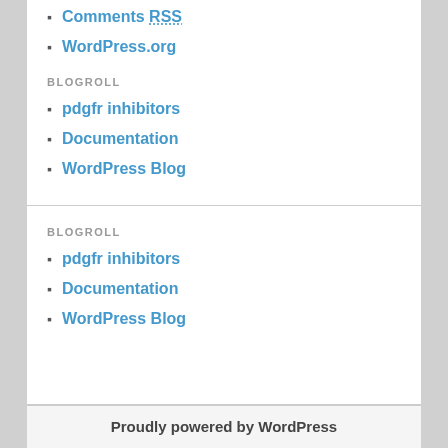Comments RSS
WordPress.org
BLOGROLL
pdgfr inhibitors
Documentation
WordPress Blog
BLOGROLL
pdgfr inhibitors
Documentation
WordPress Blog
Proudly powered by WordPress